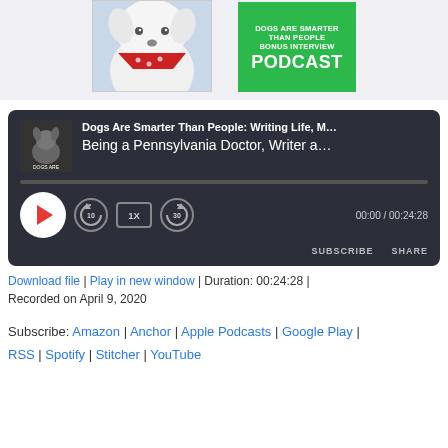[Figure (photo): White dog wearing a red bandana with paw prints, close-up photo]
[Figure (other): Green badge reading: DOGS ARE SMARTER THAN PEOPLE BONUS INTERVIEW PODCAST]
[Figure (screenshot): Podcast audio player widget showing 'Dogs Are Smarter Than People: Writing Life, M... Being a Pennsylvania Doctor, Writer a' with play button, progress bar, controls (rewind 10, 1X speed, forward 30), time 00:00 / 00:24:28, SUBSCRIBE and SHARE buttons]
Download file | Play in new window | Duration: 00:24:28 |
Recorded on April 9, 2020
Subscribe: Amazon | Anchor | Apple Podcasts | Google Play | RSS | Spotify | Stitcher | YouTube